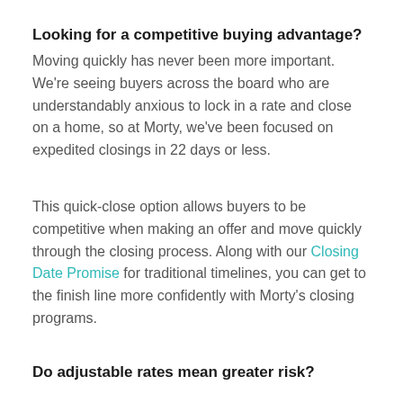Looking for a competitive buying advantage?
Moving quickly has never been more important. We're seeing buyers across the board who are understandably anxious to lock in a rate and close on a home, so at Morty, we've been focused on expedited closings in 22 days or less.
This quick-close option allows buyers to be competitive when making an offer and move quickly through the closing process. Along with our Closing Date Promise for traditional timelines, you can get to the finish line more confidently with Morty's closing programs.
Do adjustable rates mean greater risk?